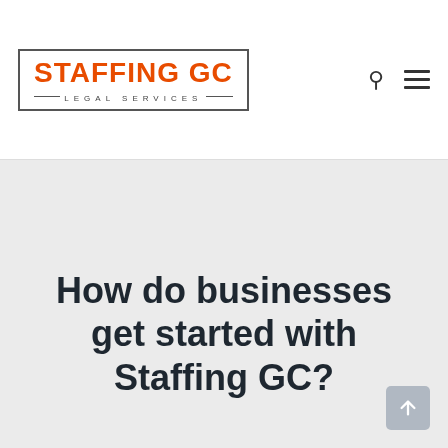[Figure (logo): Staffing GC Legal Services logo — orange bold text 'STAFFING GC' above 'LEGAL SERVICES' in small caps, inside a rectangular border]
How do businesses get started with Staffing GC?